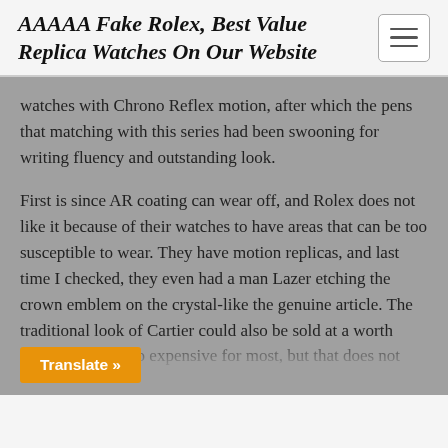AAAAA Fake Rolex, Best Value Replica Watches On Our Website
watches with Chrono Reflex motion, after which the pens that matching with this series had been swooning for writing fluency and outstanding look.
First is since AR coating can wear off, and Rolex does not like it because of their watches to have areas that can be too susceptible to wear. They have motion replicas, and last time I checked, they even had a man Lazer etching the crown emblem on the crystal-like the genuine article. The traditional look of Cartier could also be sold at a worth point that’s far too expensive for most, but that does not imply you must go without [...]ave the timeless, beautiful class the [...] of Cartier can carry you at a fraction...